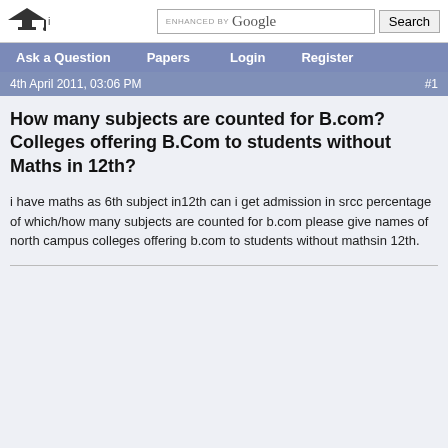Ask a Question | Papers | Login | Register
4th April 2011, 03:06 PM  #1
How many subjects are counted for B.com? Colleges offering B.Com to students without Maths in 12th?
i have maths as 6th subject in12th can i get admission in srcc percentage of which/how many subjects are counted for b.com please give names of north campus colleges offering b.com to students without mathsin 12th.